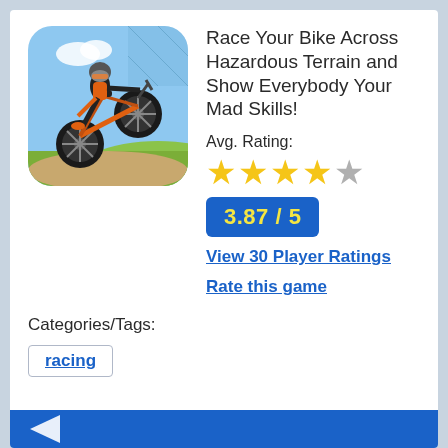[Figure (illustration): App icon for a BMX/motocross game showing a rider on a dirt bike performing a wheelie against a blue sky and green hill background, with rounded corners.]
Race Your Bike Across Hazardous Terrain and Show Everybody Your Mad Skills!
Avg. Rating:
★★★★☆
3.87 / 5
View 30 Player Ratings
Rate this game
Categories/Tags:
racing
[Figure (illustration): Blue banner strip at the bottom with a white arrow/chevron shape visible.]